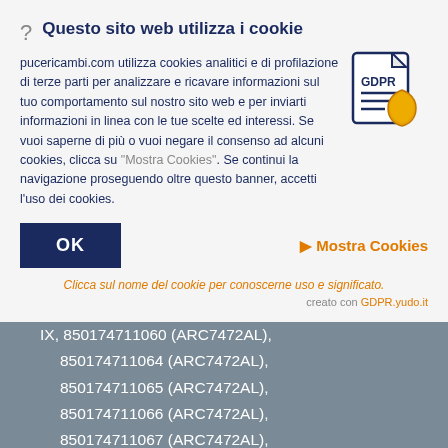Questo sito web utilizza i cookie
pucericambi.com utilizza cookies analitici e di profilazione di terze parti per analizzare e ricavare informazioni sul tuo comportamento sul nostro sito web e per inviarti informazioni in linea con le tue scelte ed interessi. Se vuoi saperne di più o vuoi negare il consenso ad alcuni cookies, clicca su "Mostra Cookies". Se continui la navigazione proseguendo oltre questo banner, accetti l'uso dei cookies.
[Figure (illustration): GDPR shield icon with document and gold shield badge]
OK
▶ Mostra Cookies
Clicca sul nome del cookie per conoscerne uso e significato.
creato con GDPR.yudo.it
IX, 850174711060 (ARC7472AL),
850174711064 (ARC7472AL),
850174711065 (ARC7472AL),
850174711066 (ARC7472AL),
850174711067 (ARC7472AL),
850174715060 (ARC7472AL),
850174715061 (ARC7472AL),